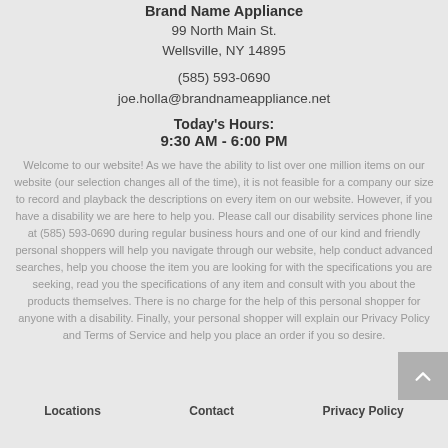Brand Name Appliance
99 North Main St.
Wellsville, NY 14895
(585) 593-0690
joe.holla@brandnameappliance.net
Today's Hours:
9:30 AM - 6:00 PM
Welcome to our website! As we have the ability to list over one million items on our website (our selection changes all of the time), it is not feasible for a company our size to record and playback the descriptions on every item on our website. However, if you have a disability we are here to help you. Please call our disability services phone line at (585) 593-0690 during regular business hours and one of our kind and friendly personal shoppers will help you navigate through our website, help conduct advanced searches, help you choose the item you are looking for with the specifications you are seeking, read you the specifications of any item and consult with you about the products themselves. There is no charge for the help of this personal shopper for anyone with a disability. Finally, your personal shopper will explain our Privacy Policy and Terms of Service and help you place an order if you so desire.
Locations   Contact   Privacy Policy